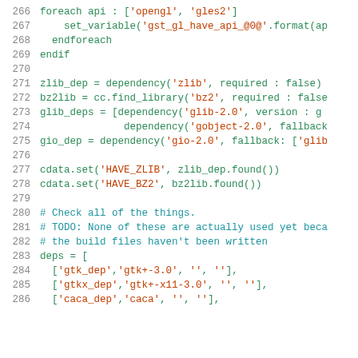Code snippet lines 266-286, build system script (Meson)
266     foreach api : ['opengl', 'gles2']
267         set_variable('gst_gl_have_api_@0@'.format(ap
268     endforeach
269   endif
270
271   zlib_dep = dependency('zlib', required : false)
272   bz2lib = cc.find_library('bz2', required : false
273   glib_deps = [dependency('glib-2.0', version : g
274                 dependency('gobject-2.0', fallback
275   gio_dep = dependency('gio-2.0', fallback: ['glib
276
277   cdata.set('HAVE_ZLIB', zlib_dep.found())
278   cdata.set('HAVE_BZ2', bz2lib.found())
279
280   # Check all of the things.
281   # TODO: None of these are actually used yet beca
282   # the build files haven't been written
283   deps = [
284     ['gtk_dep','gtk+-3.0', '', ''],
285     ['gtkx_dep','gtk+-x11-3.0', '', ''],
286     ['caca_dep','caca', '', ''],